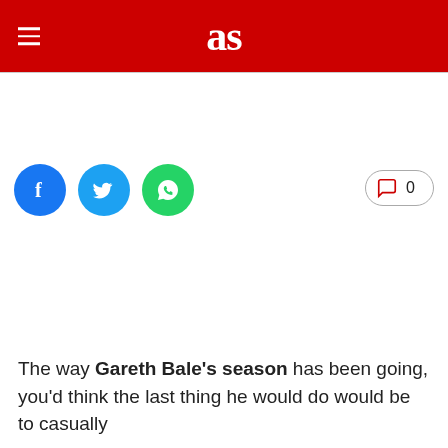as
[Figure (illustration): Social media sharing icons: Facebook (blue circle with f), Twitter (light blue circle with bird), WhatsApp (green circle with phone icon). Comment button with speech bubble icon and count 0.]
The way Gareth Bale's season has been going, you'd think the last thing he would do would be to casually